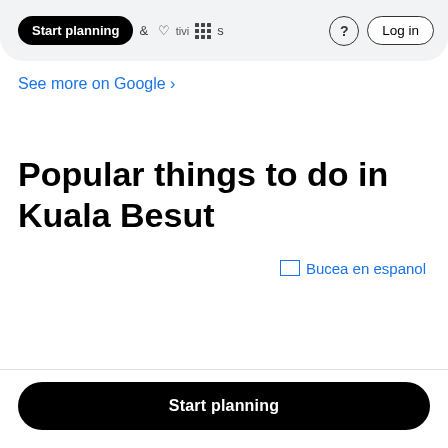[Figure (screenshot): Google navigation bar with 'Start planning' pill button (black), '& Activities' text with heart/grid icons, a help (?) circle button, and a 'Log in' outlined button]
See more on Google ›
Popular things to do in Kuala Besut
Bucea en espanol
Start planning